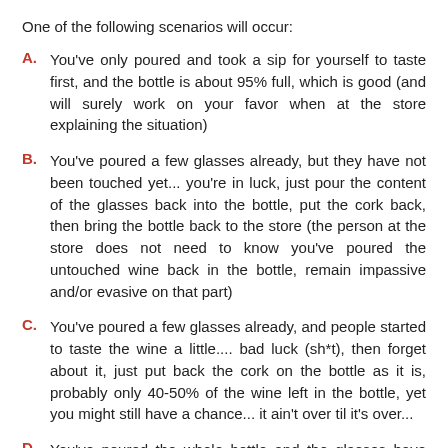One of the following scenarios will occur:
A.   You've only poured and took a sip for yourself to taste first, and the bottle is about 95% full, which is good (and will surely work on your favor when at the store explaining the situation)
B.   You've poured a few glasses already, but they have not been touched yet... you're in luck, just pour the content of the glasses back into the bottle, put the cork back, then bring the bottle back to the store (the person at the store does not need to know you've poured the untouched wine back in the bottle, remain impassive and/or evasive on that part)
C.   You've poured a few glasses already, and people started to taste the wine a little.... bad luck (sh*t), then forget about it, just put back the cork on the bottle as it is, probably only 40-50% of the wine left in the bottle, yet you might still have a chance... it ain't over til it's over...
D.   You've poured the whole bottle and the glasses have long been emptied (and maybe no one but you noticed the...